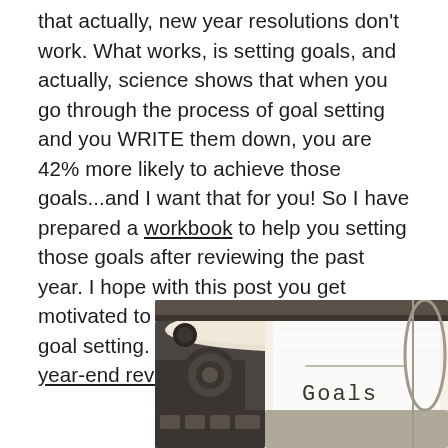that actually, new year resolutions don't work. What works, is setting goals, and actually, science shows that when you go through the process of goal setting and you WRITE them down, you are 42% more likely to achieve those goals...and I want that for you! So I have prepared a workbook to help you setting those goals after reviewing the past year. I hope with this post you get motivated to go through the process of goal setting. Especially after doing the year-end review of this other post.
[Figure (photo): A typewriter with a piece of paper that has the word 'Goals' typed on it]